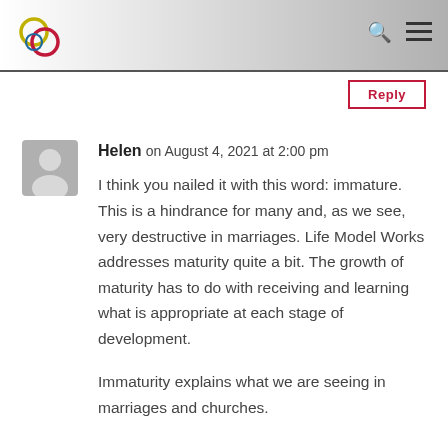Reply
Helen on August 4, 2021 at 2:00 pm

I think you nailed it with this word: immature. This is a hindrance for many and, as we see, very destructive in marriages. Life Model Works addresses maturity quite a bit. The growth of maturity has to do with receiving and learning what is appropriate at each stage of development.

Immaturity explains what we are seeing in marriages and churches.